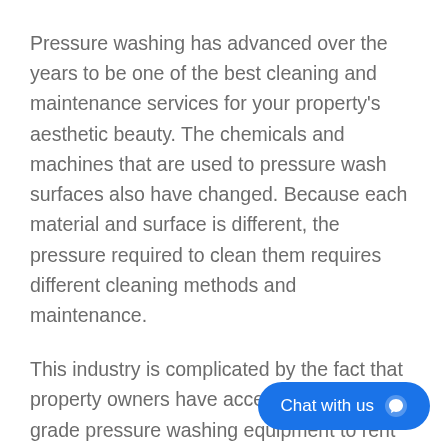Pressure washing has advanced over the years to be one of the best cleaning and maintenance services for your property's aesthetic beauty. The chemicals and machines that are used to pressure wash surfaces also have changed. Because each material and surface is different, the pressure required to clean them requires different cleaning methods and maintenance.
This industry is complicated by the fact that property owners have access to commercial-grade pressure washing equipment to rent and buy. This can be a great option for some property owners. However, it can cause property damage or personal injury if they are not trained prop
We are dedicated to not only cleaning your
[Figure (other): Chat with us button — a blue pill-shaped button in the bottom-right corner with white text 'Chat with us' and a chat bubble icon]